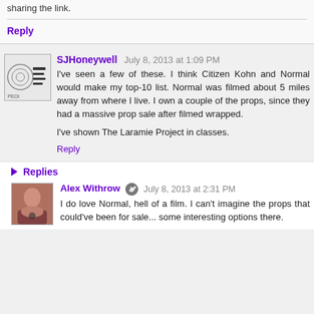sharing the link.
Reply
SJHoneywell  July 8, 2013 at 1:09 PM
I've seen a few of these. I think Citizen Kohn and Normal would make my top-10 list. Normal was filmed about 5 miles away from where I live. I own a couple of the props, since they had a massive prop sale after filmed wrapped.
I've shown The Laramie Project in classes.
Reply
Replies
Alex Withrow  July 8, 2013 at 2:31 PM
I do love Normal, hell of a film. I can't imagine the props that could've been for sale... some interesting options there.